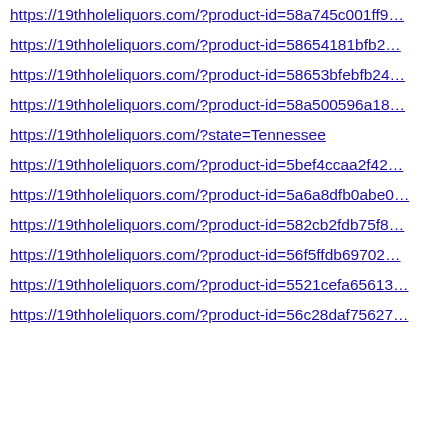https://19thholeliquors.com/?product-id=58a745c001ff9…
https://19thholeliquors.com/?product-id=58654181bfb2…
https://19thholeliquors.com/?product-id=58653bfebfb24…
https://19thholeliquors.com/?product-id=58a500596a18…
https://19thholeliquors.com/?state=Tennessee
https://19thholeliquors.com/?product-id=5bef4ccaa2f42…
https://19thholeliquors.com/?product-id=5a6a8dfb0abe0…
https://19thholeliquors.com/?product-id=582cb2fdb75f8…
https://19thholeliquors.com/?product-id=56f5ffdb69702…
https://19thholeliquors.com/?product-id=5521cefa65613…
https://19thholeliquors.com/?product-id=56c28daf75627…